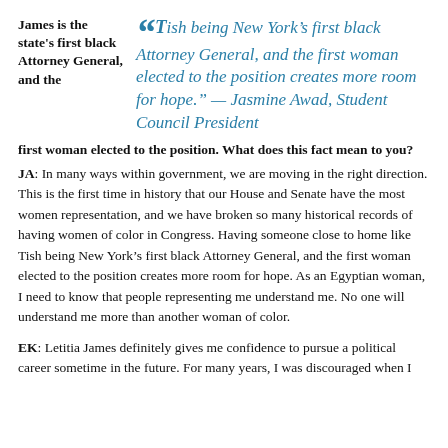James is the state's first black Attorney General, and the
“Tish being New York’s first black Attorney General, and the first woman elected to the position creates more room for hope.” — Jasmine Awad, Student Council President
first woman elected to the position. What does this fact mean to you?
JA: In many ways within government, we are moving in the right direction. This is the first time in history that our House and Senate have the most women representation, and we have broken so many historical records of having women of color in Congress. Having someone close to home like Tish being New York’s first black Attorney General, and the first woman elected to the position creates more room for hope. As an Egyptian woman, I need to know that people representing me understand me. No one will understand me more than another woman of color.
EK: Letitia James definitely gives me confidence to pursue a political career sometime in the future. For many years, I was discouraged when I